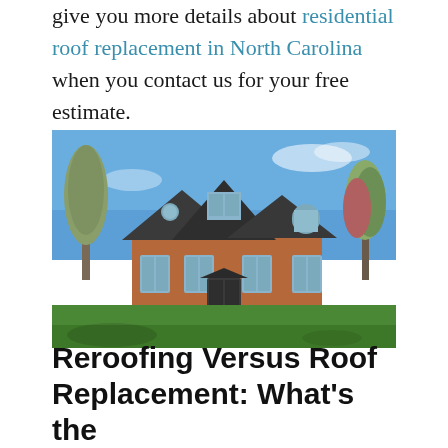give you more details about residential roof replacement in North Carolina when you contact us for your free estimate.
[Figure (photo): A large brick residential house with dark gray roofing, multiple gable peaks, arched windows, and a covered entryway, set against a bright blue sky with green lawn in the foreground and trees in the background.]
Reroofing Versus Roof Replacement: What's the